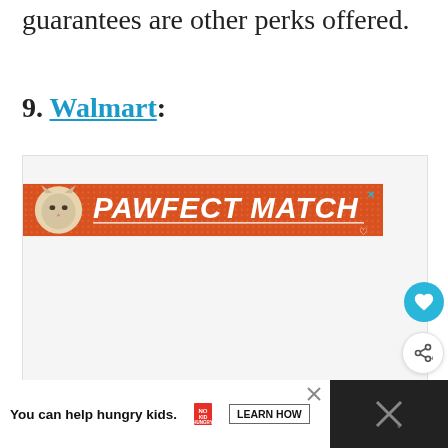guarantees are other perks offered.
9. Walmart:
[Figure (screenshot): Advertisement banner for 'Pawfect Match' showing a cat and orange background with white bold text]
[Figure (screenshot): Bottom advertisement bar: 'You can help hungry kids. NO KID HUNGRY LEARN HOW' with close button and dark right panel]